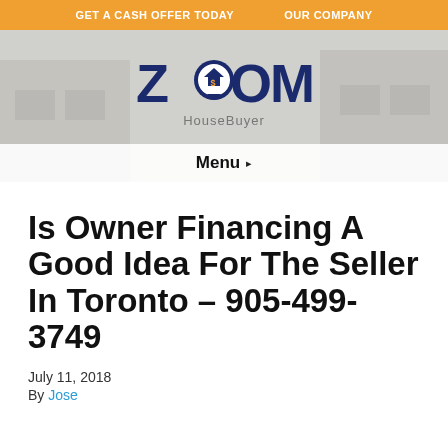GET A CASH OFFER TODAY   OUR COMPANY
[Figure (logo): Zoom HouseBuyer logo with map pin icon containing house and dollar sign]
Menu ▸
Is Owner Financing A Good Idea For The Seller In Toronto – 905-499-3749
July 11, 2018
By Jose